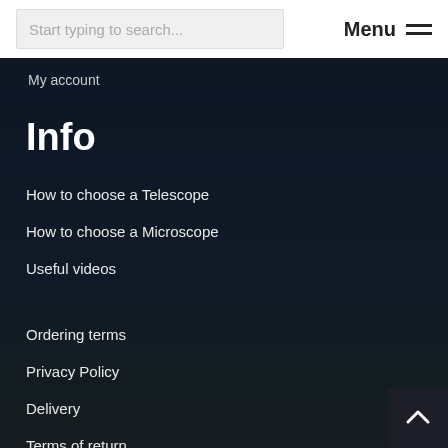Start typing to search... | Menu
My account
Info
How to choose a Telescope
How to choose a Microscope
Useful videos
Ordering terms
Privacy Policy
Delivery
Terms of return